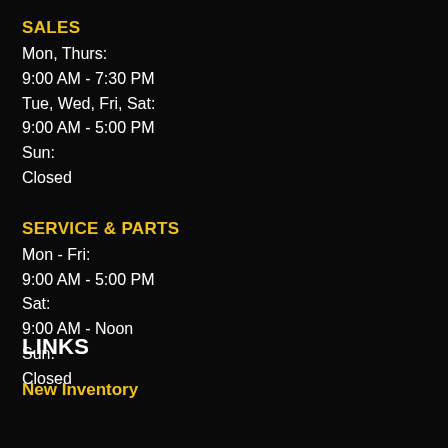SALES
Mon, Thurs:
9:00 AM - 7:30 PM
Tue, Wed, Fri, Sat:
9:00 AM - 5:00 PM
Sun:
Closed
SERVICE & PARTS
Mon - Fri:
9:00 AM - 5:00 PM
Sat:
9:00 AM - Noon
Sun:
Closed
LINKS
New Inventory